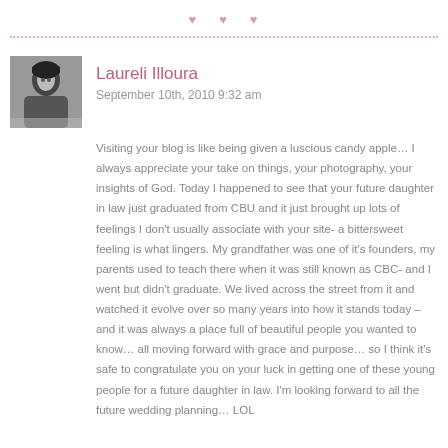Laureli Illoura
September 10th, 2010 9:32 am
Visiting your blog is like being given a luscious candy apple… I always appreciate your take on things, your photography, your insights of God. Today I happened to see that your future daughter in law just graduated from CBU and it just brought up lots of feelings I don't usually associate with your site- a bittersweet feeling is what lingers. My grandfather was one of it's founders, my parents used to teach there when it was still known as CBC- and I went but didn't graduate. We lived across the street from it and watched it evolve over so many years into how it stands today – and it was always a place full of beautiful people you wanted to know… all moving forward with grace and purpose… so I think it's safe to congratulate you on your luck in getting one of these young people for a future daughter in law. I'm looking forward to all the future wedding planning… LOL